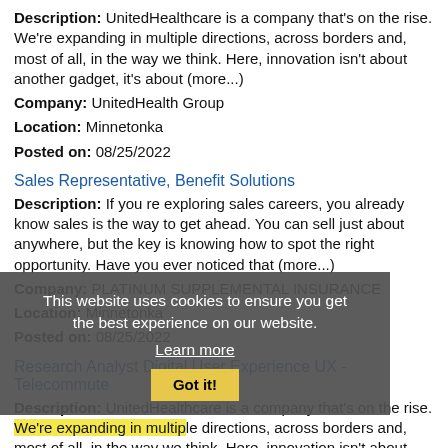Description: UnitedHealthcare is a company that's on the rise. We're expanding in multiple directions, across borders and, most of all, in the way we think. Here, innovation isn't about another gadget, it's about (more...)
Company: UnitedHealth Group
Location: Minnetonka
Posted on: 08/25/2022
Sales Representative, Benefit Solutions
Description: If you re exploring sales careers, you already know sales is the way to get ahead. You can sell just about anywhere, but the key is knowing how to spot the right opportunity. Have you ever noticed that (more...)
Company: PLATINUM SUPPLEMENTAL INSURANCE
Location: Minnetonka
Posted on: 08/25/2022
Research Analyst Digital User Experience UX - Telecommute
Description: UnitedHealthcare is a company that's on the rise. We're expanding in multiple directions, across borders and, most of all, in the way we think. Here, innovation isn't about another gadget, it's about (more...)
Company: UnitedHealth Group
[Figure (other): Cookie consent banner overlay with text: 'This website uses cookies to ensure you get the best experience on our website.' with a 'Learn more' link and 'Got it!' button]